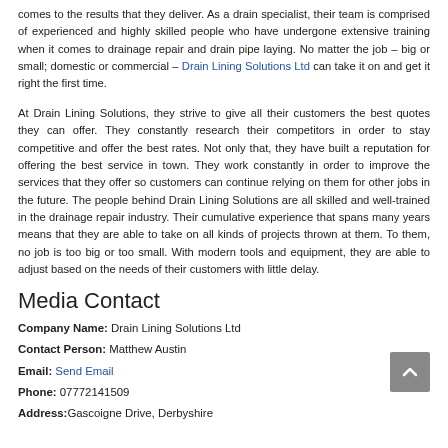comes to the results that they deliver. As a drain specialist, their team is comprised of experienced and highly skilled people who have undergone extensive training when it comes to drainage repair and drain pipe laying. No matter the job – big or small; domestic or commercial – Drain Lining Solutions Ltd can take it on and get it right the first time.
At Drain Lining Solutions, they strive to give all their customers the best quotes they can offer. They constantly research their competitors in order to stay competitive and offer the best rates. Not only that, they have built a reputation for offering the best service in town. They work constantly in order to improve the services that they offer so customers can continue relying on them for other jobs in the future. The people behind Drain Lining Solutions are all skilled and well-trained in the drainage repair industry. Their cumulative experience that spans many years means that they are able to take on all kinds of projects thrown at them. To them, no job is too big or too small. With modern tools and equipment, they are able to adjust based on the needs of their customers with little delay.
Media Contact
Company Name: Drain Lining Solutions Ltd
Contact Person: Matthew Austin
Email: Send Email
Phone: 07772141509
Address: Gascoigne Drive, Derbyshire